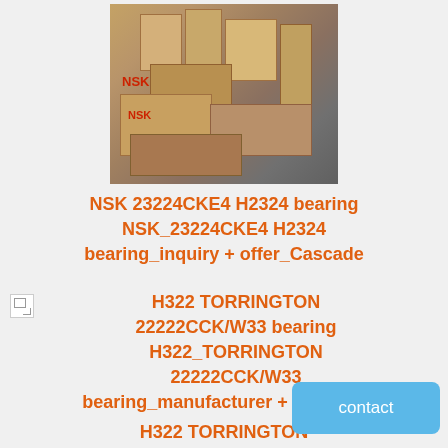[Figure (photo): Warehouse shelves with NSK branded cardboard boxes stacked in rows]
NSK 23224CKE4 H2324 bearing NSK_23224CKE4 H2324 bearing_inquiry + offer_Cascade
[Figure (photo): Broken/missing image icon]
H322 TORRINGTON 22222CCK/W33 bearing H322_TORRINGTON 22222CCK/W33 bearing_manufacturer + offer_Israel
H322 TORRINGTON 22222CCK/W33 bearing H322_TORRINGTON